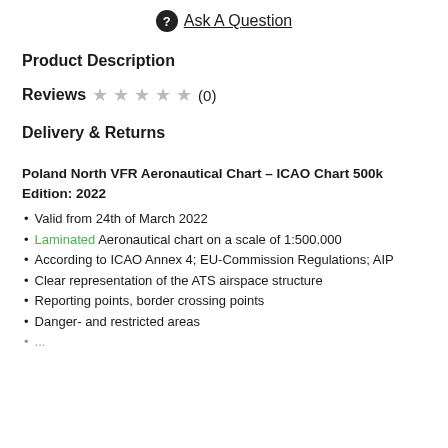❓ Ask A Question
Product Description
Reviews ★ ★ ★ ★ ★ (0)
Delivery & Returns
Poland North VFR Aeronautical Chart – ICAO Chart 500k Edition: 2022
Valid from 24th of March 2022
Laminated Aeronautical chart on a scale of 1:500.000
According to ICAO Annex 4; EU-Commission Regulations; AIP
Clear representation of the ATS airspace structure
Reporting points, border crossing points
Danger- and restricted areas